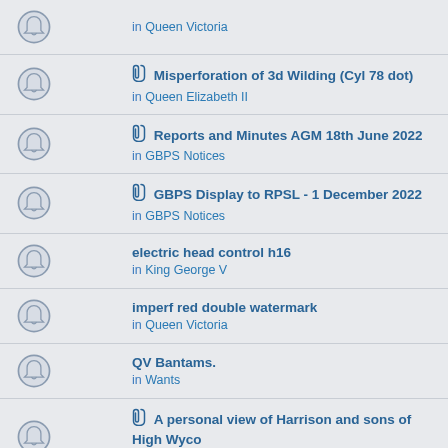in Queen Victoria
📎 Misperforation of 3d Wilding (Cyl 78 dot)
in Queen Elizabeth II
📎 Reports and Minutes AGM 18th June 2022
in GBPS Notices
📎 GBPS Display to RPSL - 1 December 2022
in GBPS Notices
electric head control h16
in King George V
imperf red double watermark
in Queen Victoria
QV Bantams.
in Wants
📎 A personal view of Harrison and sons of High Wycombe
in Miscellaneous
Meeting-handouts by the RPSL
in Miscellaneous